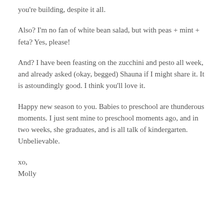you're building, despite it all.
Also? I'm no fan of white bean salad, but with peas + mint + feta? Yes, please!
And? I have been feasting on the zucchini and pesto all week, and already asked (okay, begged) Shauna if I might share it. It is astoundingly good. I think you'll love it.
Happy new season to you. Babies to preschool are thunderous moments. I just sent mine to preschool moments ago, and in two weeks, she graduates, and is all talk of kindergarten. Unbelievable.
xo,
Molly